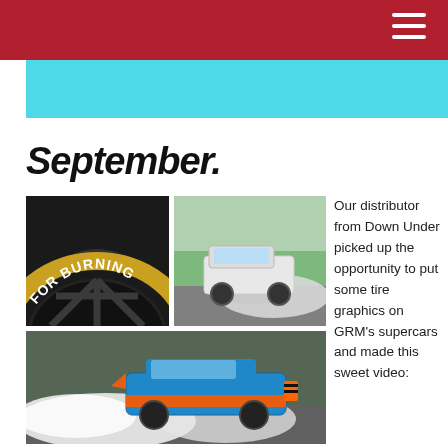September.
[Figure (photo): Collage of three automotive photos: top-left shows a close-up of a tire with 'FOR BURNING' lettering on black/gold wheel; top-right shows a white Jeep doing a burnout on a road; bottom shows a blue and orange Ford Mustang doing a burnout with heavy smoke.]
Our distributor from Down Under picked up the opportunity to put some tire graphics on GRM's supercars and made this sweet video: